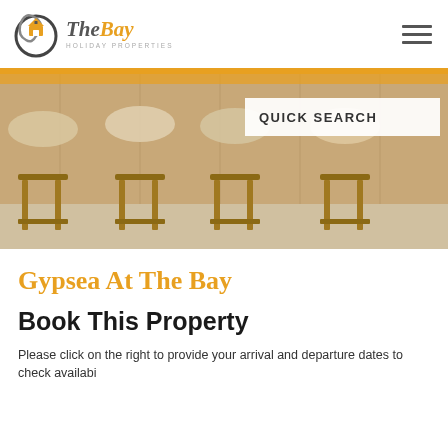The Bay Holiday Properties
[Figure (photo): Bar stools with wooden legs photographed from above, showing tan cushioned seats against a wooden panel background]
QUICK SEARCH
Gypsea At The Bay
Book This Property
Please click on the right to provide your arrival and departure dates to check availability.